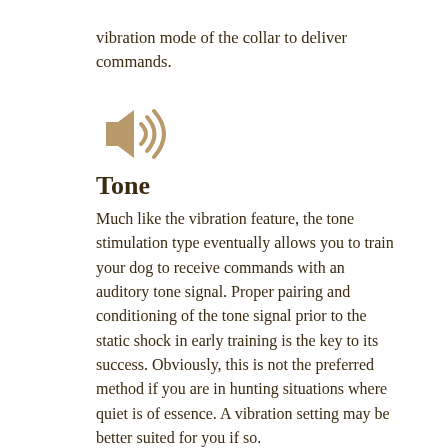vibration mode of the collar to deliver commands.
[Figure (illustration): Speaker/sound icon in tan/brown color indicating tone feature]
Tone
Much like the vibration feature, the tone stimulation type eventually allows you to train your dog to receive commands with an auditory tone signal. Proper pairing and conditioning of the tone signal prior to the static shock in early training is the key to its success. Obviously, this is not the preferred method if you are in hunting situations where quiet is of essence. A vibration setting may be better suited for you if so.
[Figure (illustration): Jump icon: tilde, arrow, and zigzag symbols in tan/brown color indicating jump feature]
Jump
The jump feature allows you to have two preset levels of intensity set on your remote, and allows you to easily "jump" to deliver the higher setting when needed. For example, if your dog is use to receiving static corrections at an intensity level of